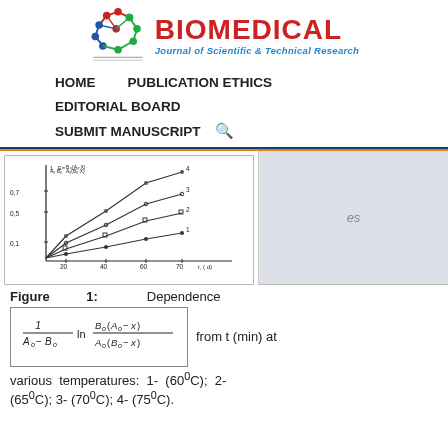[Figure (logo): Biomedical Journal of Scientific & Technical Research logo with molecule graphic]
HOME    PUBLICATION ETHICS    EDITORIAL BOARD    SUBMIT MANUSCRIPT
[Figure (line-chart): Graph showing dependence of 1/(A0-B0) * ln(B0(A0-x)/A0(B0-x)) vs t (min) with 4 lines at different temperatures]
Figure   1:   Dependence   1/(A_o - B_o) * ln B_o(A_o-x)/A_o(B_o-x)   from t (min) at various temperatures: 1- (60°C); 2- (65°C); 3- (70°C); 4- (75°C).